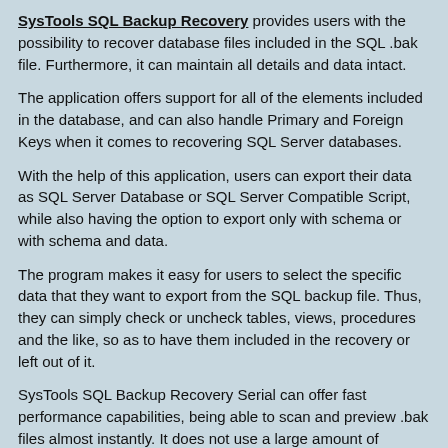SysTools SQL Backup Recovery provides users with the possibility to recover database files included in the SQL .bak file. Furthermore, it can maintain all details and data intact.
The application offers support for all of the elements included in the database, and can also handle Primary and Foreign Keys when it comes to recovering SQL Server databases.
With the help of this application, users can export their data as SQL Server Database or SQL Server Compatible Script, while also having the option to export only with schema or with schema and data.
The program makes it easy for users to select the specific data that they want to export from the SQL backup file. Thus, they can simply check or uncheck tables, views, procedures and the like, so as to have them included in the recovery or left out of it.
SysTools SQL Backup Recovery Serial can offer fast performance capabilities, being able to scan and preview .bak files almost instantly. It does not use a large amount of system resources when scanning files or exporting them. However, we had to load some files a couple of times before we could preview data in them.